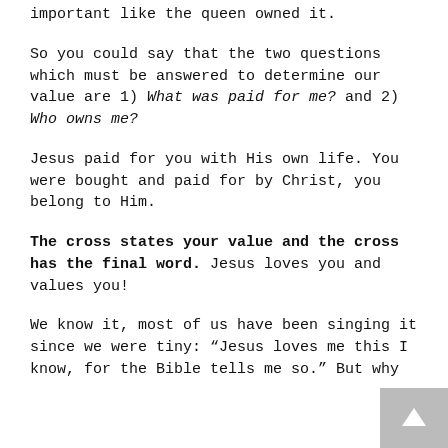important like the queen owned it.
So you could say that the two questions which must be answered to determine our value are 1) What was paid for me? and 2) Who owns me?
Jesus paid for you with His own life. You were bought and paid for by Christ, you belong to Him.
The cross states your value and the cross has the final word. Jesus loves you and values you!
We know it, most of us have been singing it since we were tiny: “Jesus loves me this I know, for the Bible tells me so.” But why